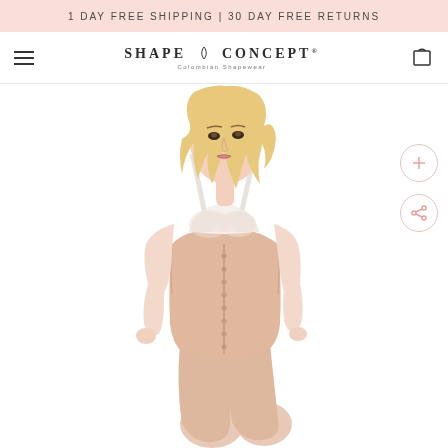1 DAY FREE SHIPPING | 30 DAY FREE RETURNS
[Figure (logo): Shape Concept Colombian Shapewear logo with hamburger menu and cart icon navigation bar]
[Figure (photo): Woman wearing beige/nude Colombian shapewear body shaper with front hook closures, white bra top visible, showing full torso and upper thigh area. Model has blonde wavy hair and poses with hand near face.]